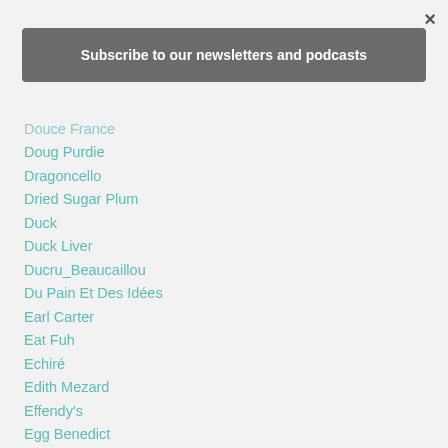[Figure (other): Close button (×) in top right corner]
Subscribe to our newsletters and podcasts
Douce France
Doug Purdie
Dragoncello
Dried Sugar Plum
Duck
Duck Liver
Ducru_Beaucaillou
Du Pain Et Des Idées
Earl Carter
Eat Fuh
Echiré
Edith Mezard
Effendy's
Egg Benedict
Eiffel Tower
Electrolux
Elisabeth De Feydeau